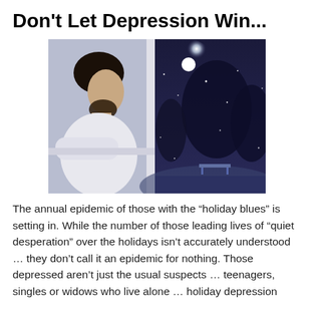Don’t Let Depression Win…
[Figure (photo): A man in a white shirt leaning against a window, looking down with a sorrowful expression, while outside the window a snowy winter scene with trees and a bench is visible at night with a bright light in the background.]
The annual epidemic of those with the “holiday blues” is setting in. While the number of those leading lives of “quiet desperation” over the holidays isn’t accurately understood … they don’t call it an epidemic for nothing. Those depressed aren’t just the usual suspects … teenagers, singles or widows who live alone … holiday depression